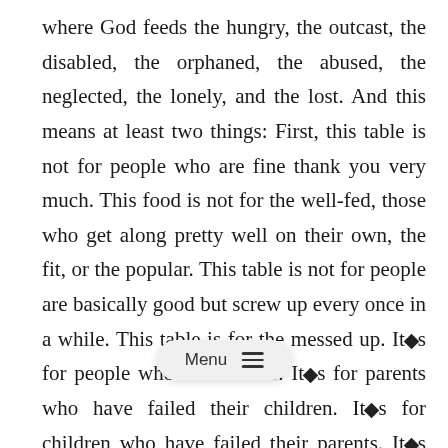where God feeds the hungry, the outcast, the disabled, the orphaned, the abused, the neglected, the lonely, and the lost. And this means at least two things: First, this table is not for people who are fine thank you very much. This food is not for the well-fed, those who get along pretty well on their own, the fit, or the popular. This table is not for people are basically good but screw up every once in a while. This table is for the messed up. It◆s for people who are failures. It◆s for parents who have failed their children. It◆s for children who have failed their parents. It◆s for spouses who have failed one another. This table is for the needy, the broken, and the we[...] ose who are starving for God◆s [...] rcy, and they will die if they do not have it. If you know your need, if